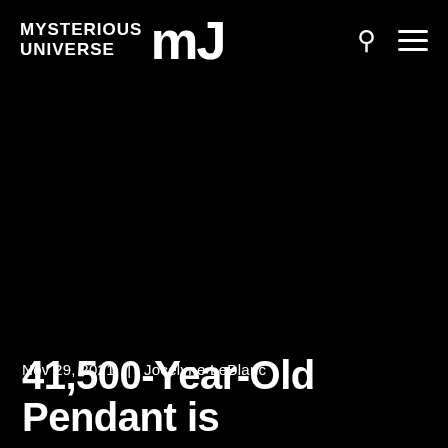MYSTERIOUS UNIVERSE MU
Nov 29, 2021  |  Jocelyne LeBlanc
41,500-Year-Old Pendant is